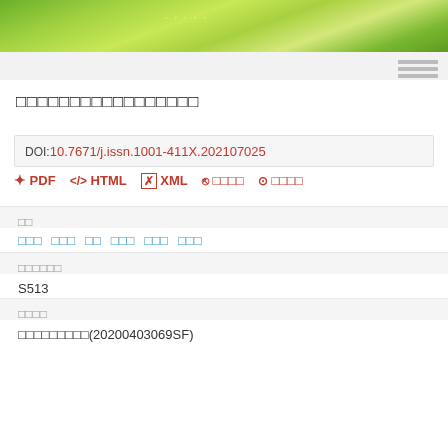[Figure (photo): Green terraced rice field landscape banner at the top of the page, with a navigation/menu bar below]
□□□□□□□□□□□□□□□□□
DOI:10.7671/j.issn.1001-411X.202107025
PDF   HTML   XML   □□□□   □□□□
□□
□□□   □□□   □□   □□□   □□□   □□□
□□□□□□
S513
□□□□
□□□□□□□□□(20200403069SF)